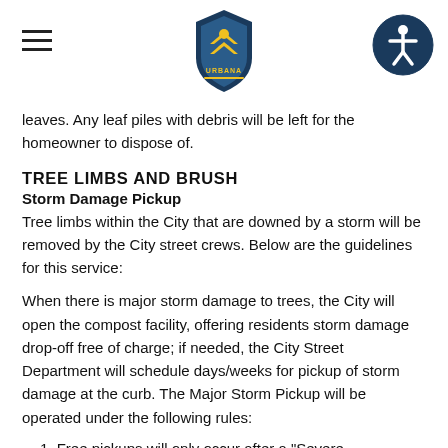Urbana city logo and navigation header
leaves. Any leaf piles with debris will be left for the homeowner to dispose of.
TREE LIMBS AND BRUSH
Storm Damage Pickup
Tree limbs within the City that are downed by a storm will be removed by the City street crews.  Below are the guidelines for this service:
When there is major storm damage to trees, the City will open the compost facility, offering residents storm damage drop-off free of charge; if needed, the City Street Department will schedule days/weeks for pickup of storm damage at the curb.  The Major Storm Pickup will be operated under the following rules:
1.  Free pickups will only occur after a "Severe Thunderstorm, Tornado, or High Wind Warning"